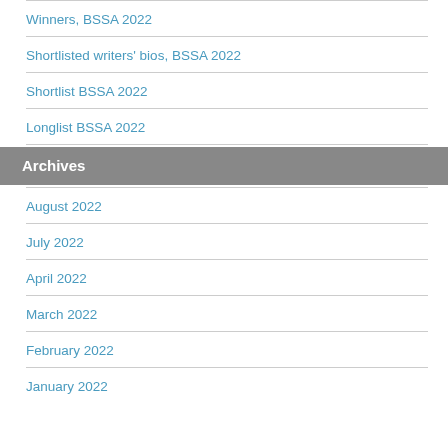Winners, BSSA 2022
Shortlisted writers' bios, BSSA 2022
Shortlist BSSA 2022
Longlist BSSA 2022
Archives
August 2022
July 2022
April 2022
March 2022
February 2022
January 2022